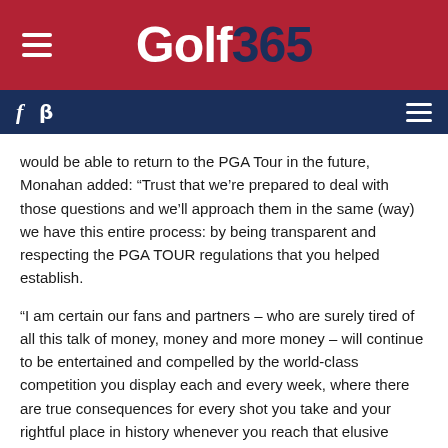Golf365
f (facebook) y (twitter) (menu)
would be able to return to the PGA Tour in the future, Monahan added: “Trust that we’re prepared to deal with those questions and we’ll approach them in the same (way) we have this entire process: by being transparent and respecting the PGA TOUR regulations that you helped establish.
“I am certain our fans and partners – who are surely tired of all this talk of money, money and more money – will continue to be entertained and compelled by the world-class competition you display each and every week, where there are true consequences for every shot you take and your rightful place in history whenever you reach that elusive winner’s circle.
“This week, the RBC Canadian Open is a shining example of what you have created with the PGA TOUR: a star-studded field, a committed sponsor, sold-out hospitality offerings, record crowds and a global broadcast distribution.